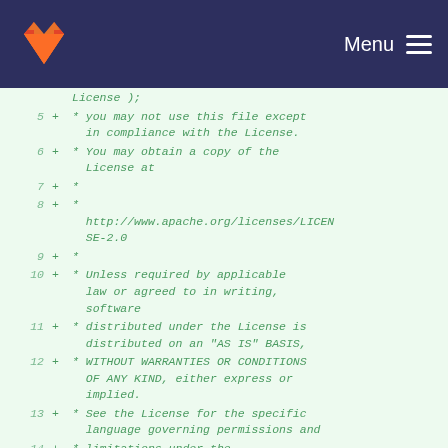GitLab navigation header with logo and Menu
Diff view of Apache License file lines 5-14:
5 +  * you may not use this file except in compliance with the License.
6 +  * You may obtain a copy of the License at
7 +  * 
8 +  * http://www.apache.org/licenses/LICENSE-2.0
9 +  * 
10 +  * Unless required by applicable law or agreed to in writing, software
11 +  * distributed under the License is distributed on an "AS IS" BASIS,
12 +  * WITHOUT WARRANTIES OR CONDITIONS OF ANY KIND, either express or implied.
13 +  * See the License for the specific language governing permissions and
14 +  * limitations under the...